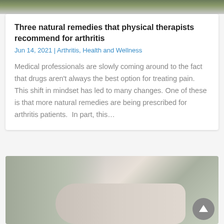[Figure (photo): Top partial image of people outdoors (partially cropped at top of page)]
Three natural remedies that physical therapists recommend for arthritis
Jun 14, 2021 | Arthritis, Health and Wellness
Medical professionals are slowly coming around to the fact that drugs aren't always the best option for treating pain. This shift in mindset has led to many changes. One of these is that more natural remedies are being prescribed for arthritis patients.  In part, this…
[Figure (photo): Physical therapist treating elderly patient lying down, with a pink exercise ball visible in the background]